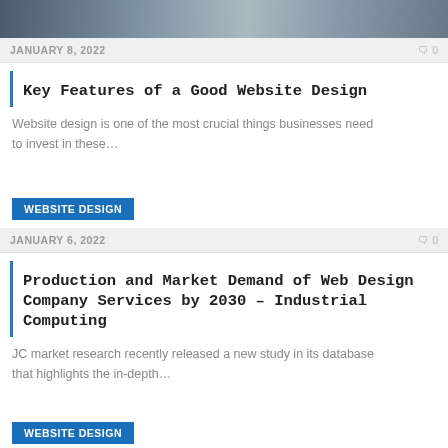[Figure (photo): Partial photo of people working at a desk, cropped at top]
JANUARY 8, 2022    🗨 0
Key Features of a Good Website Design
Website design is one of the most crucial things businesses need to invest in these…
WEBSITE DESIGN
JANUARY 6, 2022    🗨 0
Production and Market Demand of Web Design Company Services by 2030 – Industrial Computing
JC market research recently released a new study in its database that highlights the in-depth…
WEBSITE DESIGN
[Figure (logo): Simple Web Design logo with blue swoosh icon and orange text]